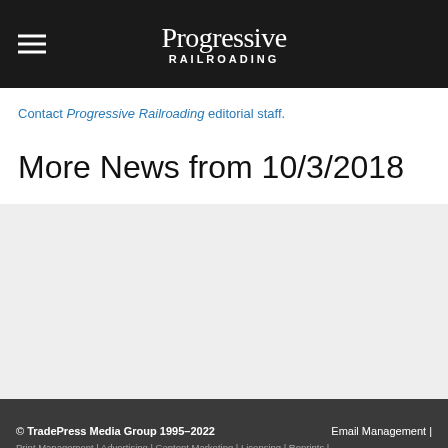Progressive Railroading
Contact Progressive Railroading editorial staff.
More News from 10/3/2018
[Figure (other): Empty grey content block area]
© TradePress Media Group 1995–2022   Email Management |